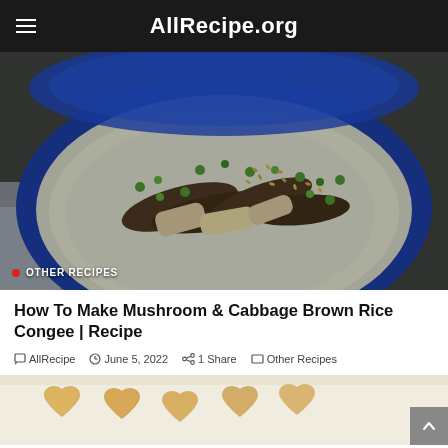AllRecipe.org
[Figure (photo): A blue bowl of mushroom and cabbage brown rice congee topped with sliced green onions, shiitake mushrooms, and sesame seeds. The bowl sits on a lace-covered surface.]
OTHER RECIPES
How To Make Mushroom & Cabbage Brown Rice Congee | Recipe
AllRecipe   June 5, 2022   1 Share   Other Recipes
[Figure (photo): Heart-shaped shortbread or cookie biscuits displayed on a light background, partially visible at the bottom of the page.]